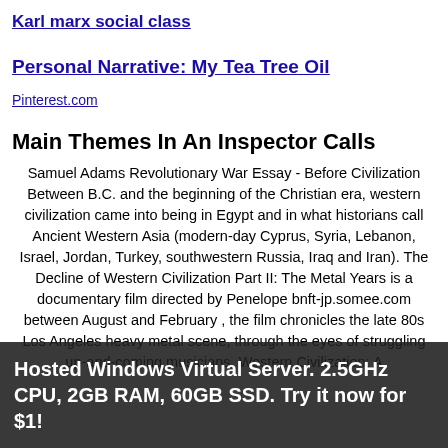Karl marx social class
Personal Narrative: My Tea Tree Oil
Pinterest.com
Main Themes In An Inspector Calls
Samuel Adams Revolutionary War Essay - Before Civilization Between B.C. and the beginning of the Christian era, western civilization came into being in Egypt and in what historians call Ancient Western Asia (modern-day Cyprus, Syria, Lebanon, Israel, Jordan, Turkey, southwestern Russia, Iraq and Iran). The Decline of Western Civilization Part II: The Metal Years is a documentary film directed by Penelope bnft-jp.somee.com between August and February , the film chronicles the late 80s Los Angeles heavy metal scene, through the eyes of struggling up-and-coming musicians. Western Civilization: A
Hosted Windows Virtual Server. 2.5GHz CPU, 2GB RAM, 60GB SSD. Try it now for $1!